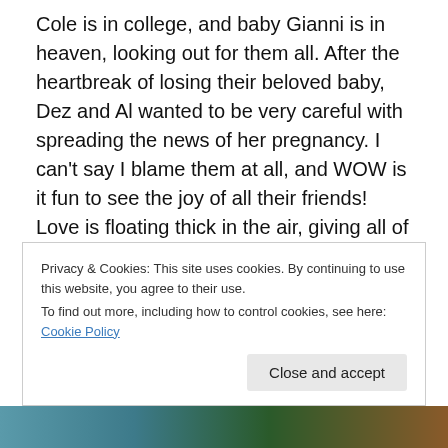Cole is in college, and baby Gianni is in heaven, looking out for them all.  After the heartbreak of losing their beloved baby, Dez and Al wanted to be very careful with spreading the news of her pregnancy.  I can't say I blame them at all, and WOW is it fun to see the joy of all their friends!  Love is floating thick in the air, giving all of us goofy grins.  Babies are the most amazing of blessings!
Of course those boys were anticipated, the news was quietly shared, but carefully, carefully.  I often show my excitement by sewing and made two unmatched quilts for
Privacy & Cookies: This site uses cookies. By continuing to use this website, you agree to their use.
To find out more, including how to control cookies, see here: Cookie Policy
[Figure (photo): Partial view of a photo strip at the bottom of the page showing teal/green and brown tones]